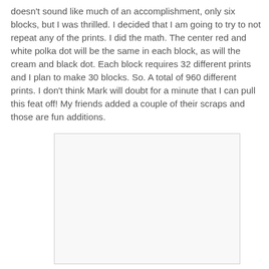doesn't sound like much of an accomplishment, only six blocks, but I was thrilled. I decided that I am going to try to not repeat any of the prints. I did the math. The center red and white polka dot will be the same in each block, as will the cream and black dot. Each block requires 32 different prints and I plan to make 30 blocks. So. A total of 960 different prints. I don't think Mark will doubt for a minute that I can pull this feat off! My friends added a couple of their scraps and those are fun additions.
[Figure (photo): A blank/white rectangular image placeholder with light border, positioned in the lower center of the page.]